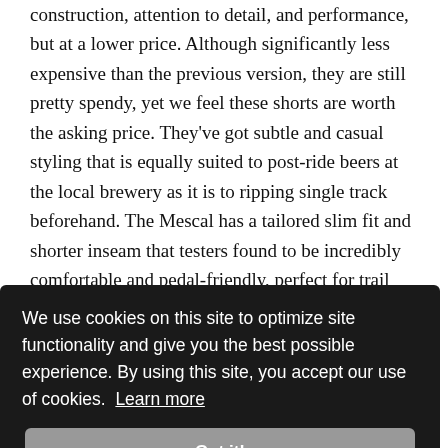construction, attention to detail, and performance, but at a lower price. Although significantly less expensive than the previous version, they are still pretty spendy, yet we feel these shorts are worth the asking price. They've got subtle and casual styling that is equally suited to post-ride beers at the local brewery as it is to ripping single track beforehand. The Mescal has a tailored slim fit and shorter inseam that testers found to be incredibly comfortable and pedal-friendly, perfect for trail and cross country style riding, and anything [obscured] h a [obscured] ble on [obscured] n [obscured] ue [obscured] lip-
[Figure (screenshot): Cookie consent banner overlay with dark background. Text reads: 'We use cookies on this site to optimize site functionality and give you the best possible experience. By using this site, you accept our use of cookies. Learn more' with a 'Got it!' button.]